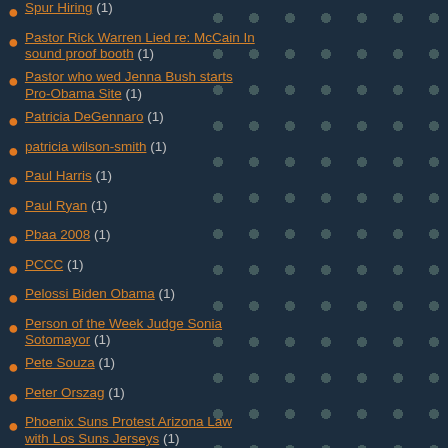Spur Hiring (1)
Pastor Rick Warren Lied re: McCain In sound proof booth (1)
Pastor who wed Jenna Bush starts Pro-Obama Site (1)
Patricia DeGennaro (1)
patricia wilson-smith (1)
Paul Harris (1)
Paul Ryan (1)
Pbaa 2008 (1)
PCCC (1)
Pelossi Biden Obama (1)
Person of the Week Judge Sonia Sotomayor (1)
Pete Souza (1)
Peter Orszag (1)
Phoenix Suns Protest Arizona Law with Los Suns Jerseys (1)
Photo: Kasich Feels POWER OF THE PEOPLE (1)
Photo: Obama Pardons Turkey (1)
PHOTO: Pres and Sasha swim in